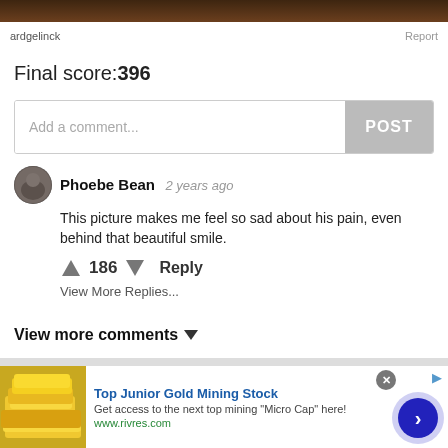[Figure (photo): Dark brown wooden surface top strip]
ardgelinck   Report
Final score:396
Add a comment...  POST
Phoebe Bean  2 years ago
This picture makes me feel so sad about his pain, even behind that beautiful smile.
↑ 186 ↓  Reply
View More Replies...
View more comments ∨
When we reached out to Ard Gelinck and asked how the idea
[Figure (advertisement): Top Junior Gold Mining Stock advertisement with gold bars image, text: Get access to the next top mining Micro Cap here! www.rivres.com]